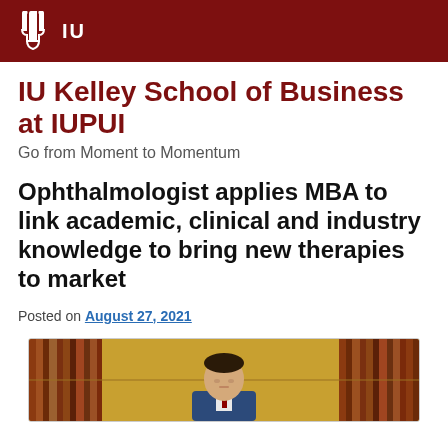IU
IU Kelley School of Business at IUPUI
Go from Moment to Momentum
Ophthalmologist applies MBA to link academic, clinical and industry knowledge to bring new therapies to market
Posted on August 27, 2021
[Figure (photo): Person seated in front of bookshelves]